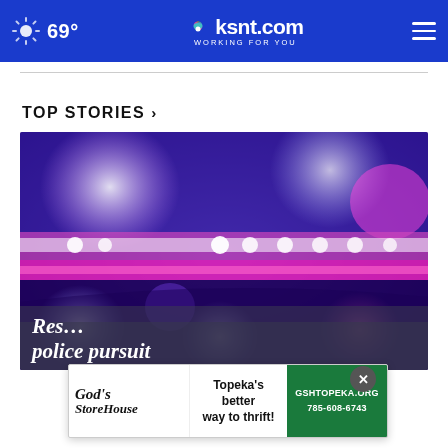69° ksnt.com WORKING FOR YOU
TOP STORIES ›
[Figure (photo): Blurred police car emergency lights in purple, pink, and blue tones — bokeh effect]
Res… police pursuit
[Figure (other): Advertisement: God's StoreHouse — Topeka's better way to thrift! GSHTOPEKA.ORG 785-608-6743]